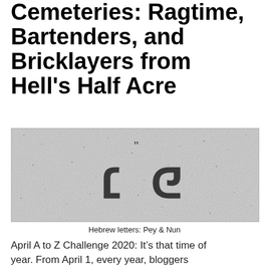Cemeteries: Ragtime, Bartenders, and Bricklayers from Hell's Half Acre
[Figure (photo): Black and white photo of a granite gravestone surface with carved Hebrew letters: Pey and Nun]
Hebrew letters: Pey & Nun
April A to Z Challenge 2020: It's that time of year. From April 1, every year, bloggers